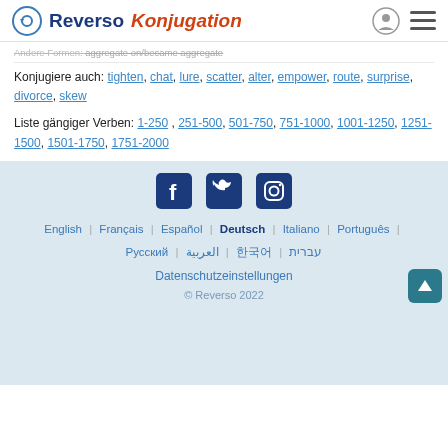Reverso Konjugation
Andere Formen: aggregate on/became aggregate
Konjugiere auch: tighten, chat, lure, scatter, alter, empower, route, surprise, divorce, skew
Liste gängiger Verben: 1-250, 251-500, 501-750, 751-1000, 1001-1250, 1251-1500, 1501-1750, 1751-2000
[Figure (logo): Social media icons: Facebook, Twitter, Instagram]
English | Français | Español | Deutsch | Italiano | Português | Русский | العربية | 한국어 | עברית
Datenschutzeinstellungen
© Reverso 2022